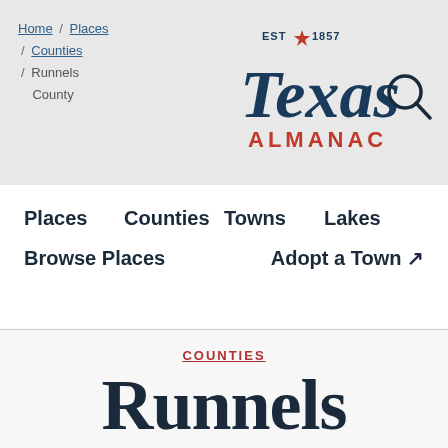Home / Places / Counties / Runnels County
[Figure (logo): Texas Almanac logo with EST 1857, cursive Texas lettering, and ALMANAC in red, with a search magnifying glass icon]
Places   Counties   Towns   Lakes
Browse Places   Adopt a Town ↗
COUNTIES
Runnels